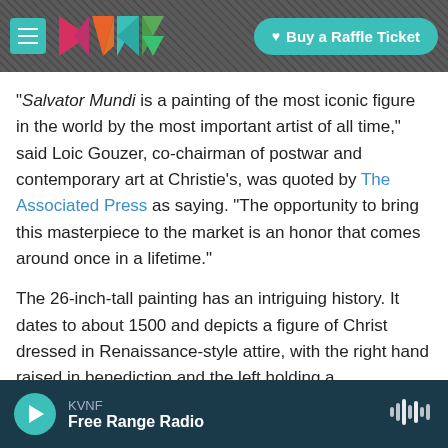KVNF | Buy a Raffle Ticket
"Salvator Mundi is a painting of the most iconic figure in the world by the most important artist of all time," said Loic Gouzer, co-chairman of postwar and contemporary art at Christie's, was quoted by The Associated Press as saying. "The opportunity to bring this masterpiece to the market is an honor that comes around once in a lifetime."
The 26-inch-tall painting has an intriguing history. It dates to about 1500 and depicts a figure of Christ dressed in Renaissance-style attire, with the right hand raised in benediction and the left holding a
KVNF
Free Range Radio